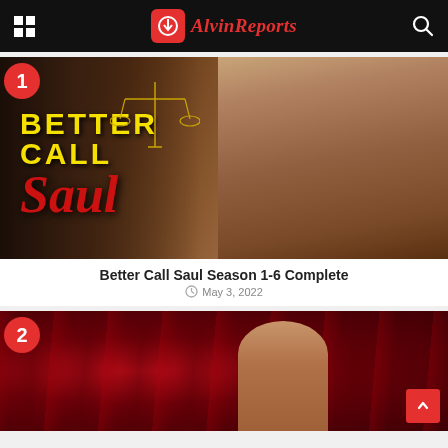AlvinReports
[Figure (photo): Better Call Saul promotional image with the show logo and actor in a suit]
Better Call Saul Season 1-6 Complete
May 3, 2022
[Figure (photo): Second article thumbnail with red fabric background and a woman]